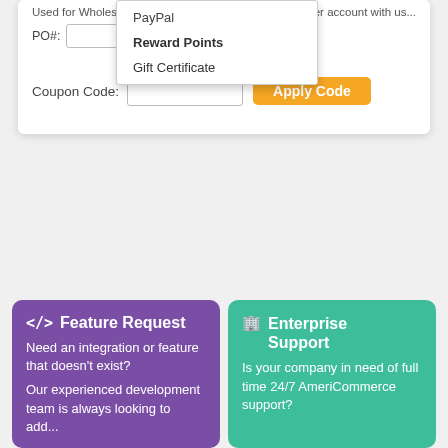[Figure (screenshot): Dropdown menu showing payment options: PayPal, Reward Points, Gift Certificate]
Used for Wholesale... order account with us...
PO#:
Coupon Code:
Apply Code
</> Feature Request
Need an integration or feature that doesn't exist?

Our experienced development team is always looking to add...
Enterprise Support
Is your company in need of full time 24/7 AmeriCommerce support?